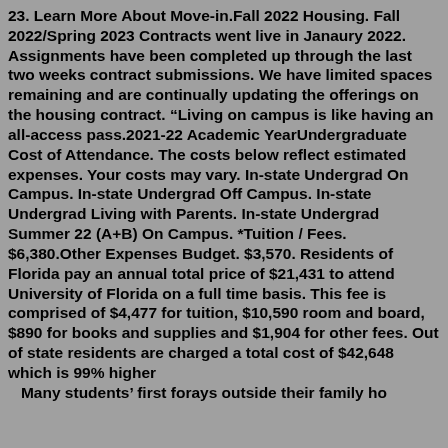23. Learn More About Move-in.Fall 2022 Housing. Fall 2022/Spring 2023 Contracts went live in Janaury 2022. Assignments have been completed up through the last two weeks contract submissions. We have limited spaces remaining and are continually updating the offerings on the housing contract. "Living on campus is like having an all-access pass.2021-22 Academic YearUndergraduate Cost of Attendance. The costs below reflect estimated expenses. Your costs may vary. In-state Undergrad On Campus. In-state Undergrad Off Campus. In-state Undergrad Living with Parents. In-state Undergrad Summer 22 (A+B) On Campus. *Tuition / Fees. $6,380.Other Expenses Budget. $3,570. Residents of Florida pay an annual total price of $21,431 to attend University of Florida on a full time basis. This fee is comprised of $4,477 for tuition, $10,590 room and board, $890 for books and supplies and $1,904 for other fees. Out of state residents are charged a total cost of $42,648 which is 99% higher ... Many students' first forays outside their family home...